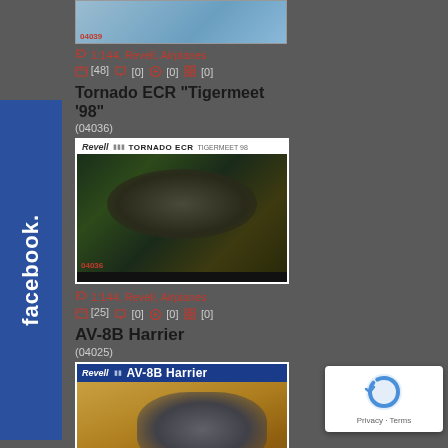[Figure (screenshot): Top partial model kit box image with label 04039]
1:144, Revell, Airplanes
[48] [0] [0] [0]
Tornado ECR "Tigermeet '98"
(04036)
[Figure (photo): Revell model kit box for Tornado ECR Tigermeet 98, 1:144 scale, showing tiger-striped jet aircraft, item 04036]
1:144, Revell, Airplanes
[25] [0] [0] [0]
AV-8B Harrier
(04025)
[Figure (photo): Revell model kit box for AV-8B Harrier, 1:144 scale, showing grey jump jet aircraft, item 04025]